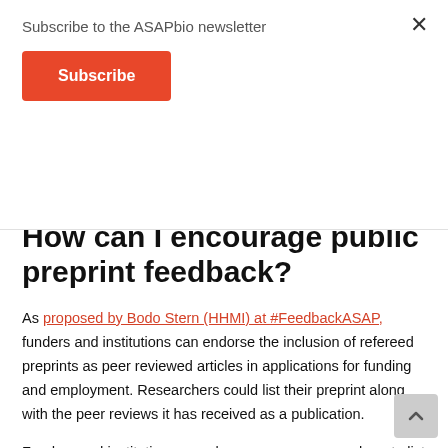Subscribe to the ASAPbio newsletter
Subscribe
How can I encourage public preprint feedback?
As proposed by Bodo Stern (HHMI) at #FeedbackASAP, funders and institutions can endorse the inclusion of refereed preprints as peer reviewed articles in applications for funding and employment. Researchers could list their preprint along with the peer reviews it has received as a publication.
Funders and institutions can also encourage researchers to list preprint reviews they have written as scholarly outputs. These outputs could be cited with a tag that identifies them